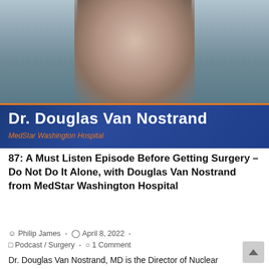[Figure (photo): Professional headshot photo of Dr. Douglas Van Nostrand, a man in a dark suit, with a blue banner overlay showing his name and institution MedStar Washington Hospital]
87: A Must Listen Episode Before Getting Surgery – Do Not Do It Alone, with Douglas Van Nostrand from MedStar Washington Hospital
Philip James  -  April 8, 2022  -  Podcast / Surgery  -  1 Comment
Dr. Douglas Van Nostrand, MD is the Director of Nuclear Medicine and the Program Director of the Nuclear Medicine Residency Program at Washington Hospital Center and Professor of Medicine,